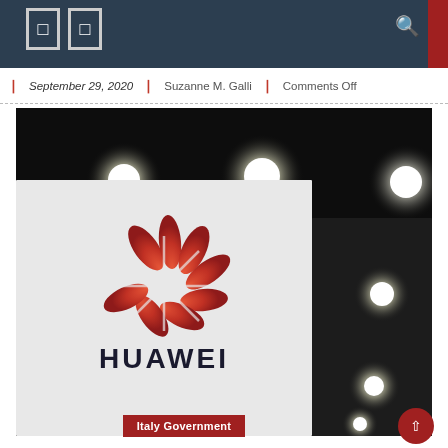September 29, 2020 | Suzanne M. Galli | Comments Off
[Figure (photo): Huawei logo on a white display board against a dark background with spotlights]
Italy Government
Italy government should be aware of the...